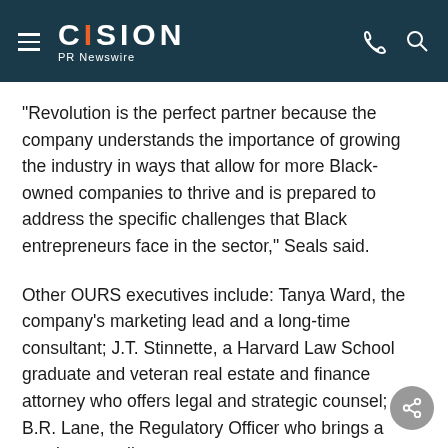CISION PR Newswire
"Revolution is the perfect partner because the company understands the importance of growing the industry in ways that allow for more Black-owned companies to thrive and is prepared to address the specific challenges that Black entrepreneurs face in the sector," Seals said.
Other OURS executives include: Tanya Ward, the company's marketing lead and a long-time consultant; J.T. Stinnette, a Harvard Law School graduate and veteran real estate and finance attorney who offers legal and strategic counsel; B.R. Lane, the Regulatory Officer who brings a gaming compliance